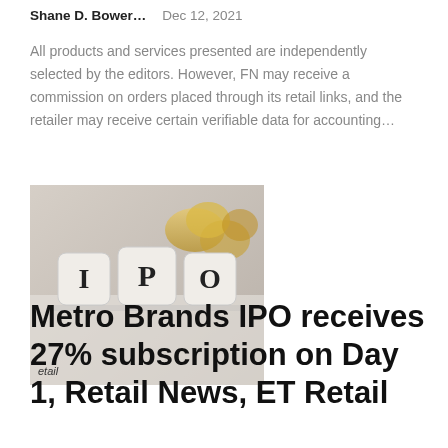Shane D. Bower...   Dec 12, 2021
All products and services presented are independently selected by the editors. However, FN may receive a commission on orders placed through its retail links, and the retailer may receive certain verifiable data for accounting...
[Figure (photo): Photo of three white dice spelling out 'IPO' on a white surface with blurred golden coins in the background. Watermark text 'etail' in bottom left corner.]
Metro Brands IPO receives 27% subscription on Day 1, Retail News, ET Retail